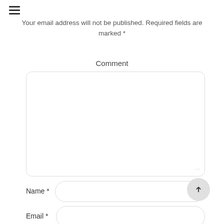[Figure (other): Hamburger menu icon (three horizontal lines) in the top-left corner]
Your email address will not be published. Required fields are marked *
Comment
[Figure (other): Large text area input box for comment entry]
Name *
[Figure (other): Name input field (rounded pill shape) with a submit/upload button (circle with up arrow) on the right]
Email *
[Figure (other): Email input field (rounded pill shape)]